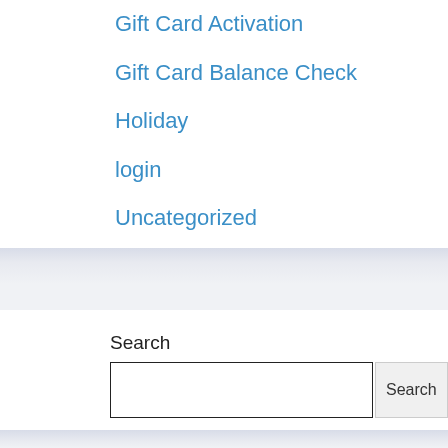Gift Card Activation
Gift Card Balance Check
Holiday
login
Uncategorized
Search
[Figure (screenshot): Search input field with a Search button to its right]